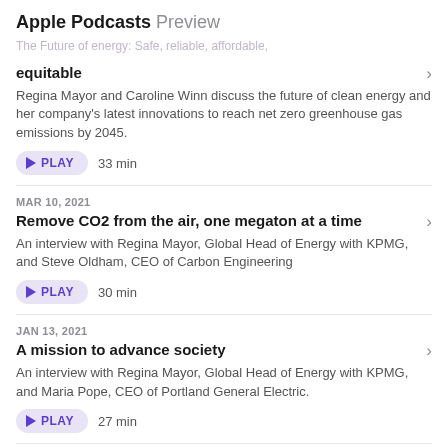Apple Podcasts Preview
The Future of energy: Safe, reliable, affordable, equitable
equitable
Regina Mayor and Caroline Winn discuss the future of clean energy and her company's latest innovations to reach net zero greenhouse gas emissions by 2045.
PLAY  33 min
MAR 10, 2021
Remove CO2 from the air, one megaton at a time
An interview with Regina Mayor, Global Head of Energy with KPMG, and Steve Oldham, CEO of Carbon Engineering
PLAY  30 min
JAN 13, 2021
A mission to advance society
An interview with Regina Mayor, Global Head of Energy with KPMG, and Maria Pope, CEO of Portland General Electric.
PLAY  27 min
OCT 5, 2020